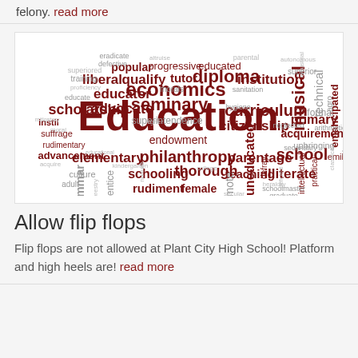felony. read more
[Figure (infographic): Education word cloud with various education-related terms in different sizes and shades of dark red/maroon and gray. The largest word is 'Education' in the center, surrounded by words like scholarship, curriculum, seminary, philanthropy, elementary, schooling, diploma, economics, musical, citizenship, liberal, qualify, advocate, endowment, parentage, school, thorough, teaching, illiterate, uneducated, rudiment, female, grammar, promote, and many smaller terms.]
Allow flip flops
Flip flops are not allowed at Plant City High School! Platform and high heels are! read more